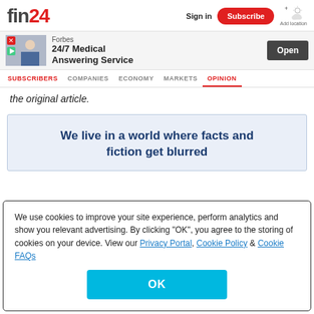fin24 | Sign in | Subscribe | Add location
[Figure (infographic): Forbes 24/7 Medical Answering Service advertisement banner with photo of woman and Open button]
SUBSCRIBERS | COMPANIES | ECONOMY | MARKETS | OPINION
the original article.
We live in a world where facts and fiction get blurred
We use cookies to improve your site experience, perform analytics and show you relevant advertising. By clicking "OK", you agree to the storing of cookies on your device. View our Privacy Portal, Cookie Policy & Cookie FAQs